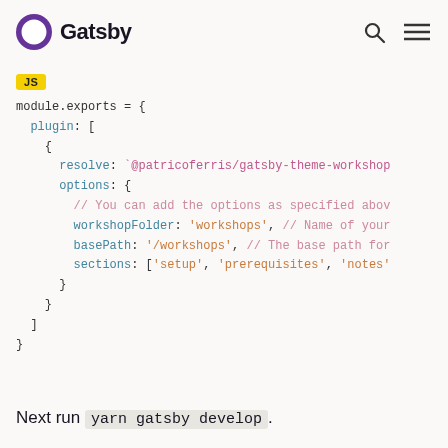Gatsby
[Figure (screenshot): Gatsby logo with purple G icon and text 'Gatsby', with search and menu icons on the right]
JS
module.exports = {
  plugin: [
    {
      resolve: `@patricoferris/gatsby-theme-workshop
      options: {
        // You can add the options as specified abov
        workshopFolder: 'workshops', // Name of your
        basePath: '/workshops', // The base path for
        sections: ['setup', 'prerequisites', 'notes'
      }
    }
  ]
}
Next run yarn gatsby develop.